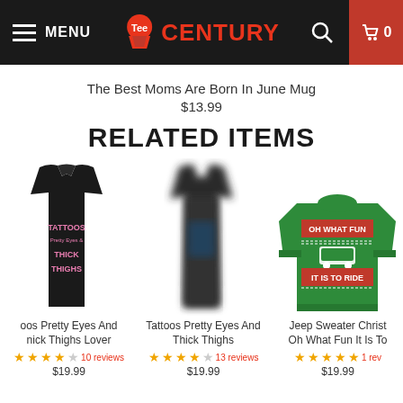MENU | Tee Century | Search | Cart 0
The Best Moms Are Born In June Mug
$13.99
RELATED ITEMS
[Figure (photo): Black racerback tank top with pink text reading Tattoos Pretty Eyes And Thick Thighs]
oos Pretty Eyes And nick Thighs Lover
10 reviews $19.99
[Figure (photo): Blurred black dress/tank product image]
Tattoos Pretty Eyes And Thick Thighs
13 reviews $19.99
[Figure (photo): Green Christmas sweater with text OH WHAT FUN IT IS TO RIDE with Jeep graphic]
Jeep Sweater Christ Oh What Fun It Is To
1 rev $19.99